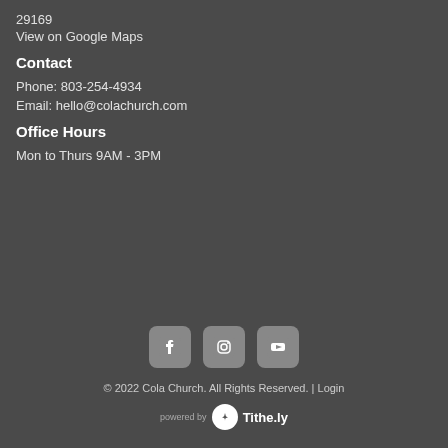29169
View on Google Maps
Contact
Phone:  803-254-4934
Email:  hello@colachurch.com
Office Hours
Mon to Thurs 9AM - 3PM
[Figure (logo): Social media icons: Facebook, Instagram, YouTube]
© 2022 Cola Church. All Rights Reserved. | Login
powered by Tithe.ly